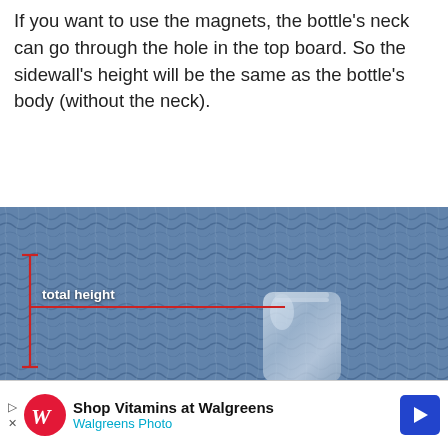If you want to use the magnets, the bottle’s neck can go through the hole in the top board. So the sidewall’s height will be the same as the bottle’s body (without the neck).
[Figure (photo): Photo of a glass bottle on a blue crumpled fabric background with red annotation lines indicating 'total height']
We use cookies on our website to give you the most relevant experience by remembering your preferences and repeat visits. By clicking “Accept”, you consent to the use of ALL the cookies.
Do not sell my personal information.
Cook
[Figure (advertisement): Walgreens ad: Shop Vitamins at Walgreens, Walgreens Photo]